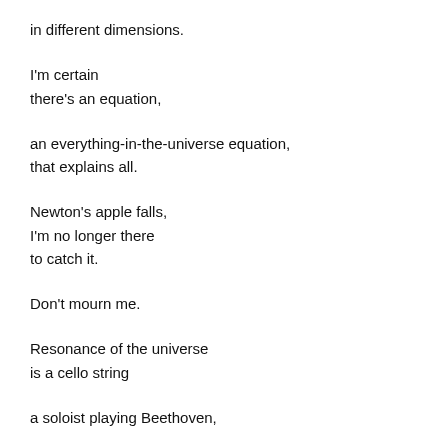in different dimensions.
I'm certain
there's an equation,
an everything-in-the-universe equation,
that explains all.
Newton's apple falls,
I'm no longer there
to catch it.
Don't mourn me.
Resonance of the universe
is a cello string
a soloist playing Beethoven,